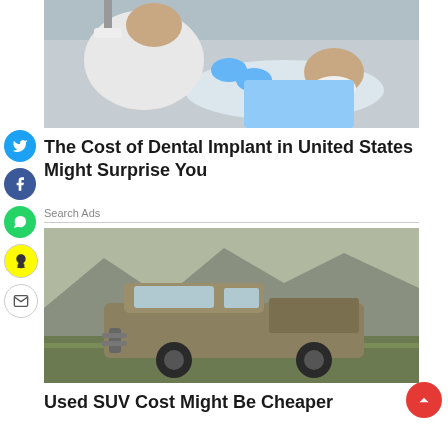[Figure (photo): A dentist (bald man in white coat and blue gloves) performing a dental procedure on an elderly patient reclined in a dental chair]
The Cost of Dental Implant in United States Might Surprise You
Search Ads
[Figure (photo): A used pickup truck / SUV (tan/brown Toyota) parked on open land with mountains in the background]
Used SUV Cost Might Be Cheaper